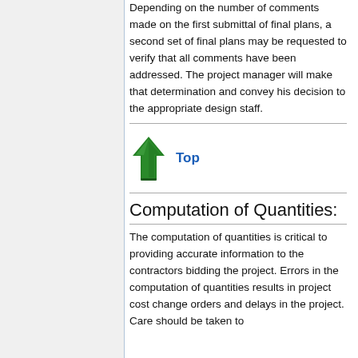Depending on the number of comments made on the first submittal of final plans, a second set of final plans may be requested to verify that all comments have been addressed. The project manager will make that determination and convey his decision to the appropriate design staff.
[Figure (illustration): Green upward arrow icon (tree/arrow combined logo) with bold blue 'Top' link text to the right]
Computation of Quantities:
The computation of quantities is critical to providing accurate information to the contractors bidding the project. Errors in the computation of quantities results in project cost change orders and delays in the project. Care should be taken...